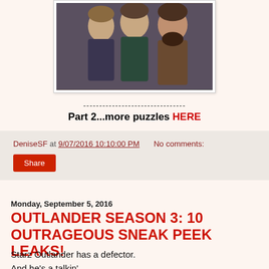[Figure (photo): Three characters from Outlander TV show — two men and a woman in period costume]
--------------------------------
Part 2...more puzzles HERE
DeniseSF at 9/07/2016 10:10:00 PM   No comments:
Share
Monday, September 5, 2016
OUTLANDER SEASON 3: 10 OUTRAGEOUS SNEAK PEEK LEAKS!
Starz Outlander has a defector.
And he's a talkin'